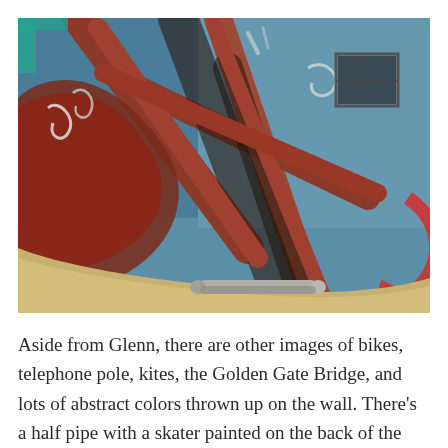[Figure (photo): A large street mural on a brick wall depicting oversized bicycle frames in reddish-brown tones against a blue background, with graffiti art elements. A sandy sloped surface is visible at the bottom along with a concrete pipe/tube. A window is visible in the upper right portion of the building.]
Aside from Glenn, there are other images of bikes, telephone pole, kites, the Golden Gate Bridge, and lots of abstract colors thrown up on the wall. There's a half pipe with a skater painted on the back of the building.